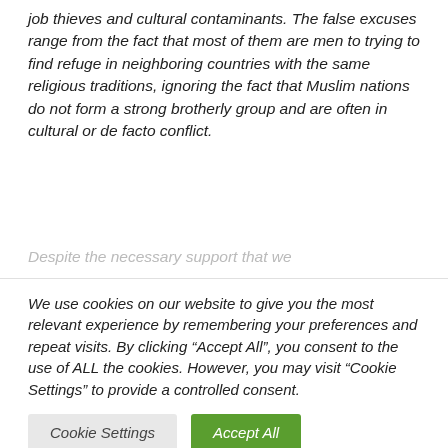job thieves and cultural contaminants. The false excuses range from the fact that most of them are men to trying to find refuge in neighboring countries with the same religious traditions, ignoring the fact that Muslim nations do not form a strong brotherly group and are often in cultural or de facto conflict.
Despite the necessary support that we
We use cookies on our website to give you the most relevant experience by remembering your preferences and repeat visits. By clicking “Accept All”, you consent to the use of ALL the cookies. However, you may visit “Cookie Settings” to provide a controlled consent.
Cookie Settings
Accept All